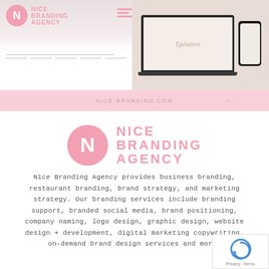[Figure (screenshot): Website screenshot showing Nice Branding Agency website mockup on left (logo with pink circle N, wordmark in pink) and device mockups (laptop and phone) on right with beige background. Bottom strip shows 'NICE-BRANDING.COM' URL with arrow.]
[Figure (logo): Nice Branding Agency logo: pink circle with white N letter, and pink bold text reading NICE BRANDING AGENCY]
Nice Branding Agency provides business branding, restaurant branding, brand strategy, and marketing strategy. Our branding services include branding support, branded social media, brand positioning, company naming, logo design, graphic design, website design + development, digital marketing copywriting, on-demand brand design services and more.